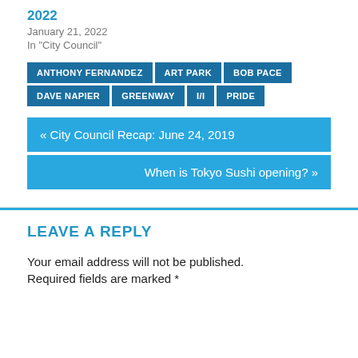2022
January 21, 2022
In "City Council"
ANTHONY FERNANDEZ
ART PARK
BOB PACE
DAVE NAPIER
GREENWAY
I/I
PRIDE
« City Council Recap: June 24, 2019
When is Tokyo Sushi opening? »
LEAVE A REPLY
Your email address will not be published.
Required fields are marked *